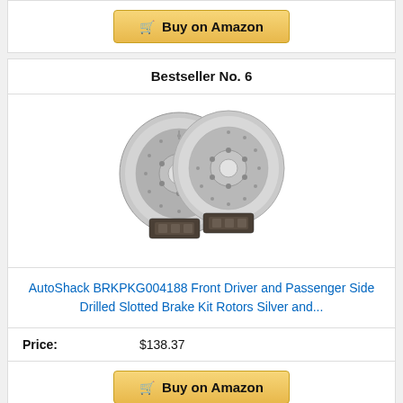[Figure (other): Buy on Amazon button at top of page]
Bestseller No. 6
[Figure (photo): Two silver drilled slotted brake rotors with brake pads in front, product photo on white background]
AutoShack BRKPKG004188 Front Driver and Passenger Side Drilled Slotted Brake Kit Rotors Silver and...
| Price: |
| --- |
| $138.37 |
[Figure (other): Buy on Amazon button at bottom of page]